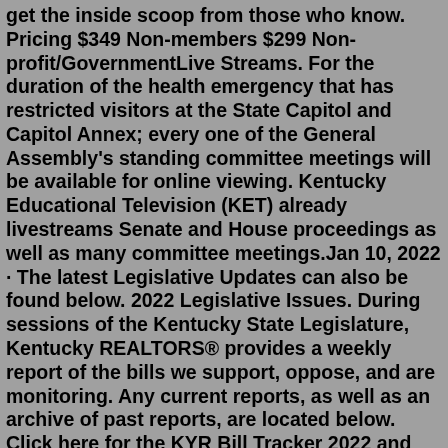get the inside scoop from those who know. Pricing $349 Non-members $299 Non-profit/GovernmentLive Streams. For the duration of the health emergency that has restricted visitors at the State Capitol and Capitol Annex; every one of the General Assembly's standing committee meetings will be available for online viewing. Kentucky Educational Television (KET) already livestreams Senate and House proceedings as well as many committee meetings.Jan 10, 2022 · The latest Legislative Updates can also be found below. 2022 Legislative Issues. During sessions of the Kentucky State Legislature, Kentucky REALTORS® provides a weekly report of the bills we support, oppose, and are monitoring. Any current reports, as well as an archive of past reports, are located below. Click here for the KYR Bill Tracker 2022 and last updated 4:22 PM, Jan 04, 2022 FRANKFORT, Ky. (LEX 18) — On Tuesday, the Kentucky General Assembly gaveled in for the start of the 2022 legislative session. Lawmakers quickly moved their...Mar 21, 2022 · Where things stand in